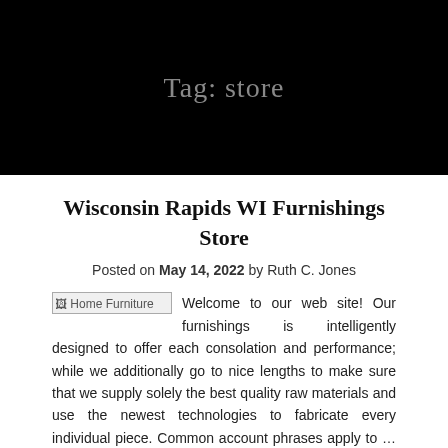Tag: store
Wisconsin Rapids WI Furnishings Store
Posted on May 14, 2022 by Ruth C. Jones
Welcome to our web site! Our furnishings is intelligently designed to offer each consolation and performance; while we additionally go to nice lengths to make sure that we supply solely the best quality raw materials and use the newest technologies to fabricate every individual piece. Common account phrases apply to … Read the rest